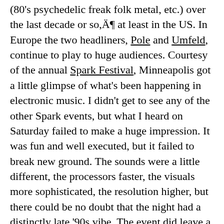(80's psychedelic freak folk metal, etc.) over the last decade or so,Ä¶ at least in the US. In Europe the two headliners, Pole and Umfeld, continue to play to huge audiences. Courtesy of the annual Spark Festival, Minneapolis got a little glimpse of what's been happening in electronic music. I didn't get to see any of the other Spark events, but what I heard on Saturday failed to make a huge impression. It was fun and well executed, but it failed to break new ground. The sounds were a little different, the processors faster, the visuals more sophisticated, the resolution higher, but there could be no doubt that the night had a distinctly late '90s vibe. The event did leave a warm nostalgic glow behind,Ä¶ which is enough for me to want more,Ä¶ I just wish someone would bring Felix Kubin to town! Here are a few drawings from the event executed under the faint glow of laptop screens,Ä¶ I didn't do a drawing of Alex Rae,Ä¶ mainly because he started his set well before the announced starting time, and in the manner of